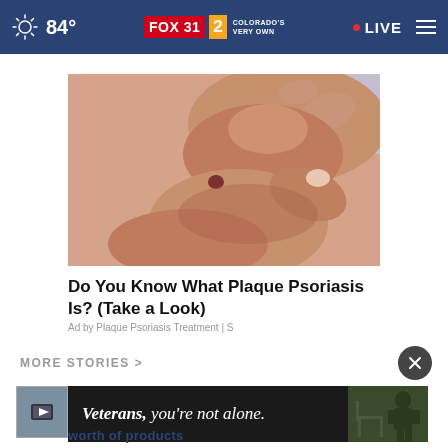84° FOX31 2 COLORADO'S VERY OWN • LIVE
[Figure (photo): Close-up photo of a hand scratching or touching a skin spot on someone's back — related to plaque psoriasis advertisement]
Do You Know What Plaque Psoriasis Is? (Take a Look)
Ad by Plaque Psoriasis Treatment | S
MORE STORIES >
[Figure (photo): Veterans you're not alone — military-themed advertisement banner with soldier imagery]
worth of products